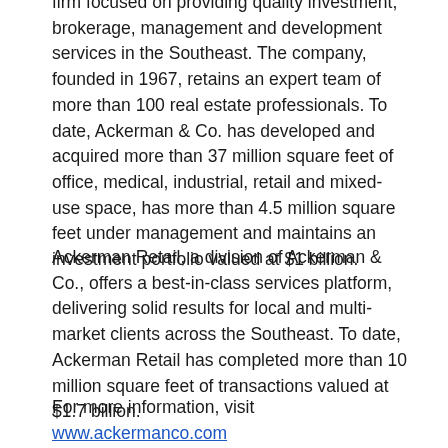firm focused on providing quality investment, brokerage, management and development services in the Southeast. The company, founded in 1967, retains an expert team of more than 100 real estate professionals. To date, Ackerman & Co. has developed and acquired more than 37 million square feet of office, medical, industrial, retail and mixed-use space, has more than 4.5 million square feet under management and maintains an investment portfolio valued at $1 billion.
Ackerman Retail, a division of Ackerman & Co., offers a best-in-class services platform, delivering solid results for local and multi-market clients across the Southeast. To date, Ackerman Retail has completed more than 10 million square feet of transactions valued at $1.7 billion.
For more information, visit www.ackermanco.com